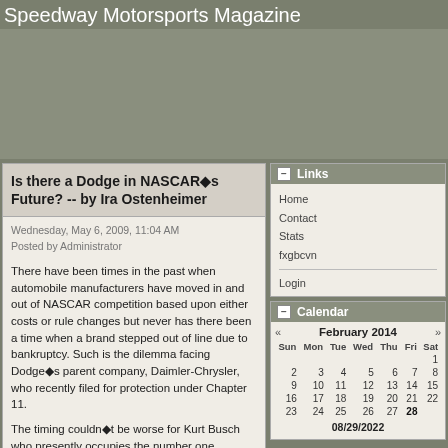Speedway Motorsports Magazine
[Figure (other): Advertisement banner area, gray/olive colored rectangle]
Is there a Dodge in NASCAR�s Future? -- by Ira Ostenheimer
Wednesday, May 6, 2009, 11:04 AM
Posted by Administrator
There have been times in the past when automobile manufacturers have moved in and out of NASCAR competition based upon either costs or rule changes but never has there been a time when a brand stepped out of line due to bankruptcy. Such is the dilemma facing Dodge�s parent company, Daimler-Chrysler, who recently filed for protection under Chapter 11.
The timing couldn�t be worse for Kurt Busch who presently occupies the number one position in the Sprint Cup Series driver standings, his Penske team, Gillett/Evernham and Richard Petty Motorsports. Everyone has been told by
Links
Home
Contact
Stats
fxgbcvn
Login
Calendar
| Sun | Mon | Tue | Wed | Thu | Fri | Sat |
| --- | --- | --- | --- | --- | --- | --- |
|  |  |  |  |  |  | 1 |
| 2 | 3 | 4 | 5 | 6 | 7 | 8 |
| 9 | 10 | 11 | 12 | 13 | 14 | 15 |
| 16 | 17 | 18 | 19 | 20 | 21 | 22 |
| 23 | 24 | 25 | 26 | 27 | 28 |  |
February 2014
08/29/2022